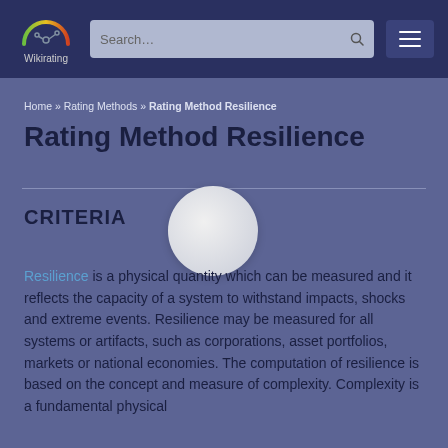[Figure (logo): Wikirating logo: speedometer arc in green-red gradient with a link/node icon, text 'Wikirating' below]
Home » Rating Methods » Rating Method Resilience
Rating Method Resilience
CRITERIA
Resilience is a physical quantity which can be measured and it reflects the capacity of a system to withstand impacts, shocks and extreme events. Resilience may be measured for all systems or artifacts, such as corporations, asset portfolios, markets or national economies. The computation of resilience is based on the concept and measure of complexity. Complexity is a fundamental physical